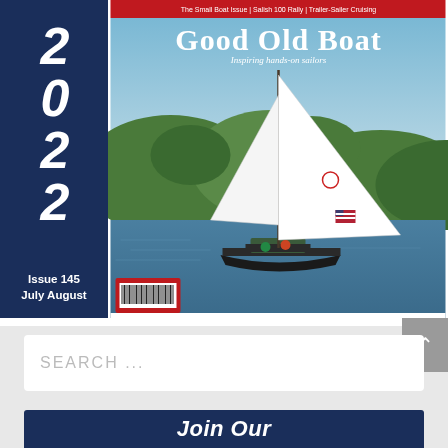[Figure (illustration): Magazine cover of 'Good Old Boat' issue 145, July August 2022. The cover shows a sailboat with large white sails on blue water with green hills in the background and an American flag. The left sidebar is dark navy blue with the year '2022' in large white italic numerals and 'Issue 145 July August' at the bottom in white text. A barcode is visible in the bottom left of the cover image. The top of the cover has a red banner with text about The Small Boat Issue, Salish 100 Rally, and Trailer-Sailer Cruising.]
SEARCH ...
Join Our